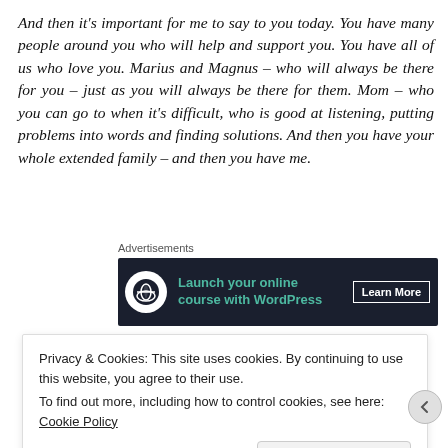And then it's important for me to say to you today. You have many people around you who will help and support you. You have all of us who love you. Marius and Magnus – who will always be there for you – just as you will always be there for them. Mom – who you can go to when it's difficult, who is good at listening, putting problems into words and finding solutions. And then you have your whole extended family – and then you have me.
Advertisements
[Figure (other): Advertisement banner for Launch your online course with WordPress with a Learn More button on dark background]
Privacy & Cookies: This site uses cookies. By continuing to use this website, you agree to their use.
To find out more, including how to control cookies, see here: Cookie Policy
Close and accept